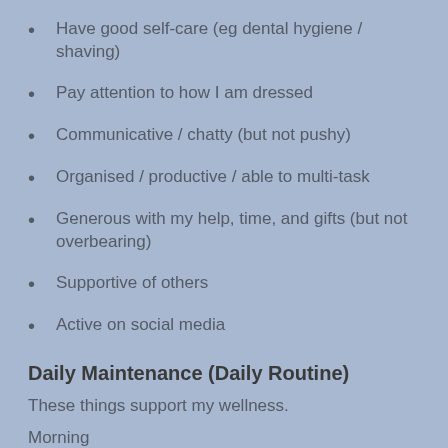Have good self-care (eg dental hygiene / shaving)
Pay attention to how I am dressed
Communicative / chatty (but not pushy)
Organised / productive / able to multi-task
Generous with my help, time, and gifts (but not overbearing)
Supportive of others
Active on social media
Daily Maintenance (Daily Routine)
These things support my wellness.
Morning